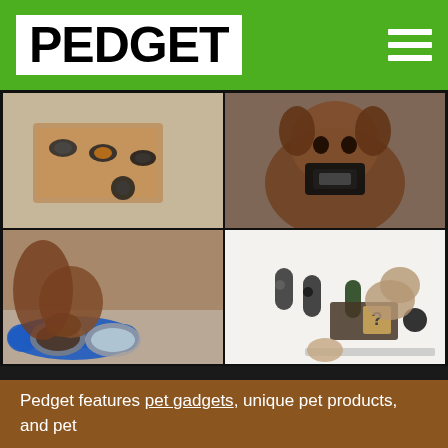PEDGET
[Figure (photo): Phone camera lens accessories and a wooden tray with attachments on white surface]
[Figure (photo): Brown dog wearing a GoPro camera harness mount on its back, looking at camera]
[Figure (photo): Small brown Chihuahua dog eating from a blue bone-shaped silicone mat with two stainless steel bowls]
[Figure (photo): Cats playing on a modular wall-mounted cat furniture system with cylinders and platforms]
Pedget features pet gadgets, unique pet products, and pet